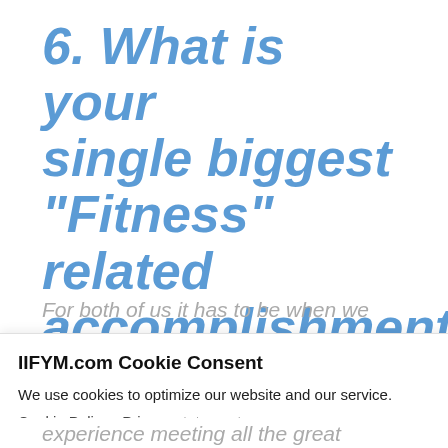6. What is your single biggest “Fitness” related accomplishment?
For both of us it has to be when we
IIFYM.com Cookie Consent
We use cookies to optimize our website and our service.
Cookie Policy - Privacy statement
Accept
experience meeting all the great